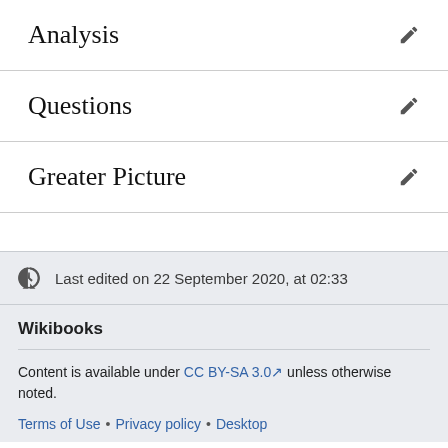Analysis
Questions
Greater Picture
Last edited on 22 September 2020, at 02:33
Wikibooks
Content is available under CC BY-SA 3.0 unless otherwise noted.
Terms of Use • Privacy policy • Desktop